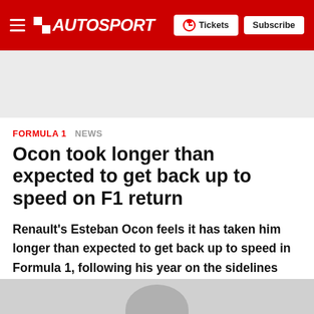AUTOSPORT — Tickets | Subscribe
FORMULA 1   NEWS
Ocon took longer than expected to get back up to speed on F1 return
Renault's Esteban Ocon feels it has taken him longer than expected to get back up to speed in Formula 1, following his year on the sidelines after leaving Force India
[Figure (photo): Partial photo of a person's head at the bottom of the page]